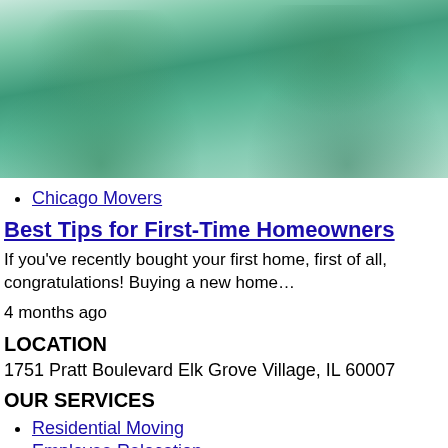[Figure (photo): Photo of two people in green shirts, likely movers or workers, in a home setting]
Chicago Movers
Best Tips for First-Time Homeowners
If you've recently bought your first home, first of all, congratulations! Buying a new home…
4 months ago
LOCATION
1751 Pratt Boulevard Elk Grove Village, IL 60007
OUR SERVICES
Residential Moving
Employee Relocation
International…